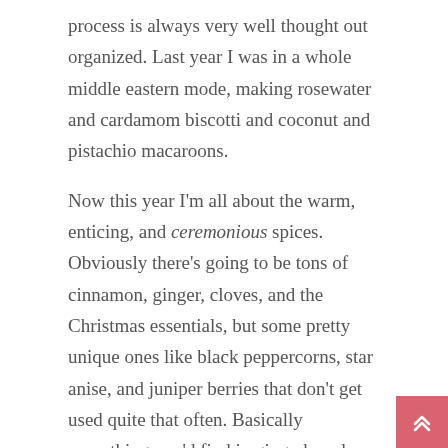process is always very well thought out organized. Last year I was in a whole middle eastern mode, making rosewater and cardamom biscotti and coconut and pistachio macaroons.
Now this year I'm all about the warm, enticing, and ceremonious spices. Obviously there's going to be tons of cinnamon, ginger, cloves, and the Christmas essentials, but some pretty unique ones like black peppercorns, star anise, and juniper berries that don't get used quite that often. Basically everything you'd find in gingerbread – but with a kick. So this holiday gingerbread recipe is the perfect way to segway into the procession of holiday recipes I have coming up right?